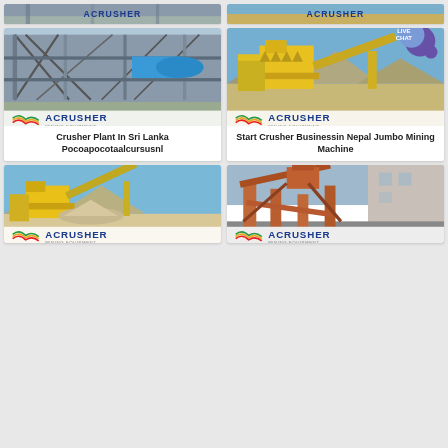[Figure (photo): Partial top card left - industrial crusher plant]
[Figure (photo): Partial top card right - mining machine]
[Figure (photo): Crusher Plant In Sri Lanka Pocoapocotaalcursusnl - industrial building with conveyor belt and blue drum, ACRUSHER logo]
Crusher Plant In Sri Lanka Pocoapocotaalcursusnl
[Figure (photo): Start Crusher Businessin Nepal Jumbo Mining Machine - yellow mining crusher machinery outdoors, ACRUSHER logo, LIVE CHAT badge]
Start Crusher Businessin Nepal Jumbo Mining Machine
[Figure (photo): Bottom left - mining crusher plant with yellow machinery outdoors, ACRUSHER logo]
[Figure (photo): Bottom right - industrial facility with orange/rust conveyor structures, ACRUSHER logo]